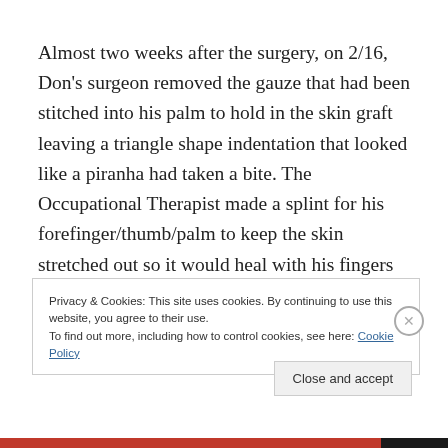Almost two weeks after the surgery, on 2/16, Don's surgeon removed the gauze that had been stitched into his palm to hold in the skin graft leaving a triangle shape indentation that looked like a piranha had taken a bite. The Occupational Therapist made a splint for his forefinger/thumb/palm to keep the skin stretched out so it would heal with his fingers in the extended position.  He still has the pin in his pinky until 3/2 so she made a plastic
Privacy & Cookies: This site uses cookies. By continuing to use this website, you agree to their use.
To find out more, including how to control cookies, see here: Cookie Policy
Close and accept